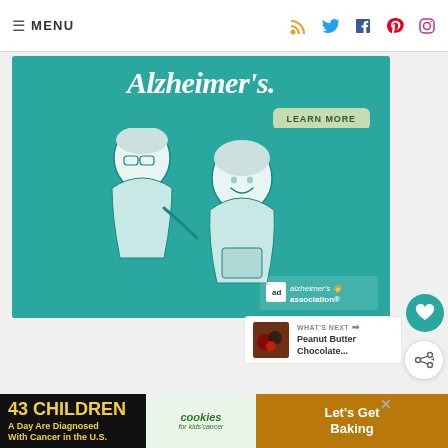≡ MENU
[Figure (illustration): Alzheimer's Association advertisement banner on teal background showing an elderly man and woman illustration. Text: Alzheimer's. LEARN MORE. alz.org/ourstories. alzheimer's association logo with 'ad' badge.]
[Figure (other): Teal circular heart/like button icon]
[Figure (other): White circular share button icon]
[Figure (other): WHAT'S NEXT card with thumbnail showing Peanut Butter Chocolate...]
Love.
[Figure (infographic): Bottom advertisement: '43 CHILDREN A Day Are Diagnosed With Cancer in the U.S.' with cookies for kids' cancer branding and Let's Get Baking text]